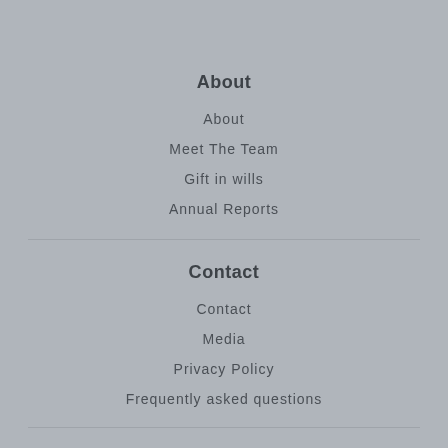About
About
Meet The Team
Gift in wills
Annual Reports
Contact
Contact
Media
Privacy Policy
Frequently asked questions